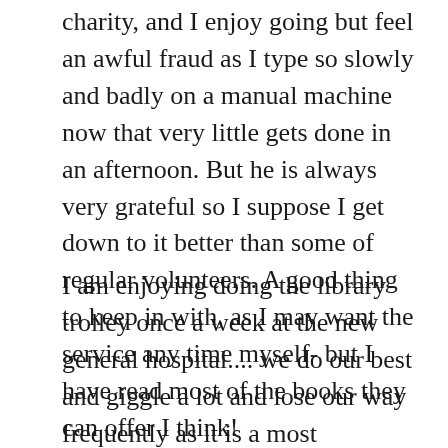charity, and I enjoy going but feel an awful fraud as I type so slowly and badly on a manual machine now that very little gets done in an afternoon. But he is always very grateful so I suppose I get down to it better than some of regular volunteers. A good thing to keep in with, as I may want the service any time myself- but I have read most of the books they can offer I think!
I am enjoying doing the library trolley once a week at the new general hospital.... we do our best and giggle a lot and lose our way frequently as it is a most confusing hospital. The corridors have little coloured men on the walls to guide you the right way. Gynae is pale